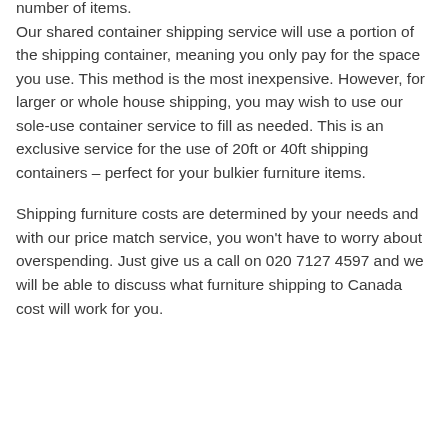number of items. Our shared container shipping service will use a portion of the shipping container, meaning you only pay for the space you use. This method is the most inexpensive. However, for larger or whole house shipping, you may wish to use our sole-use container service to fill as needed. This is an exclusive service for the use of 20ft or 40ft shipping containers – perfect for your bulkier furniture items.
Shipping furniture costs are determined by your needs and with our price match service, you won't have to worry about overspending. Just give us a call on 020 7127 4597 and we will be able to discuss what furniture shipping to Canada cost will work for you.